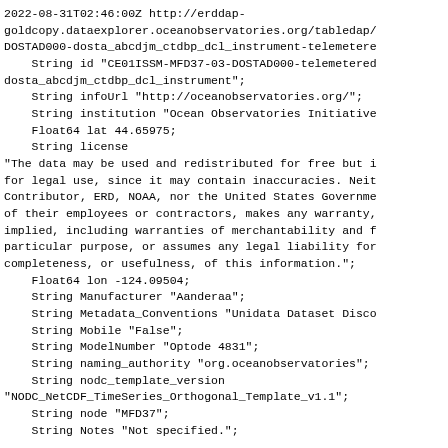2022-08-31T02:46:00Z http://erddap-goldcopy.dataexplorer.oceanobservatories.org/tabledap/DOSTAD000-dosta_abcdjm_ctdbp_dcl_instrument-telemetered
    String id "CE01ISSM-MFD37-03-DOSTAD000-telemetered-dosta_abcdjm_ctdbp_dcl_instrument";
    String infoUrl "http://oceanobservatories.org/";
    String institution "Ocean Observatories Initiative
    Float64 lat 44.65975;
    String license
"The data may be used and redistributed for free but is not intended
for legal use, since it may contain inaccuracies. Neither the
Contributor, ERD, NOAA, nor the United States Government, nor any
of their employees or contractors, makes any warranty, express or
implied, including warranties of merchantability and fitness for a
particular purpose, or assumes any legal liability for the accuracy,
completeness, or usefulness, of this information.";
    Float64 lon -124.09504;
    String Manufacturer "Aanderaa";
    String Metadata_Conventions "Unidata Dataset Discovery
    String Mobile "False";
    String ModelNumber "Optode 4831";
    String naming_authority "org.oceanobservatories";
    String nodc_template_version
"NODC_NetCDF_TimeSeries_Orthogonal_Template_v1.1";
    String node "MFD37";
    String Notes "Not specified.";